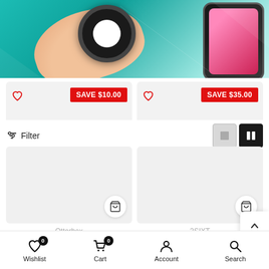[Figure (photo): Hero banner showing a hand holding a round AirTag accessory and a phone case on a teal/mint green background]
[Figure (infographic): Two product sale cards side by side: left card shows red badge 'SAVE $10.00', right card shows red badge 'SAVE $35.00', each with a heart/wishlist icon]
⊞ Filter
[Figure (screenshot): Two product image cards side by side with shopping cart buttons]
Otterbox
3SIXT
OTTERBOX Power Swap Controller Batteries For
IPhone/Samsung Go Phones 3SIXT 3-In...
Wishlist  Cart  Account  Search